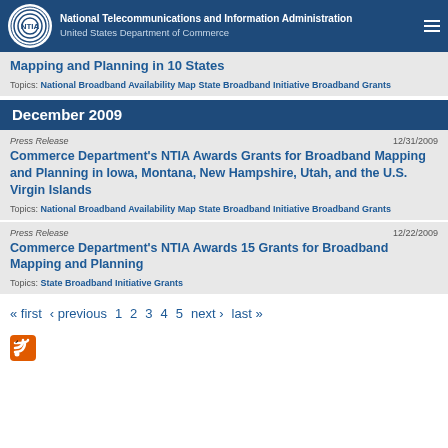National Telecommunications and Information Administration | United States Department of Commerce
Mapping and Planning in 10 States
Topics: National Broadband Availability Map   State Broadband Initiative   Broadband Grants
December 2009
Press Release
12/31/2009
Commerce Department's NTIA Awards Grants for Broadband Mapping and Planning in Iowa, Montana, New Hampshire, Utah, and the U.S. Virgin Islands
Topics: National Broadband Availability Map   State Broadband Initiative   Broadband Grants
Press Release
12/22/2009
Commerce Department's NTIA Awards 15 Grants for Broadband Mapping and Planning
Topics: State Broadband Initiative   Grants
« first   ‹ previous   1   2   3   4   5   next ›   last »